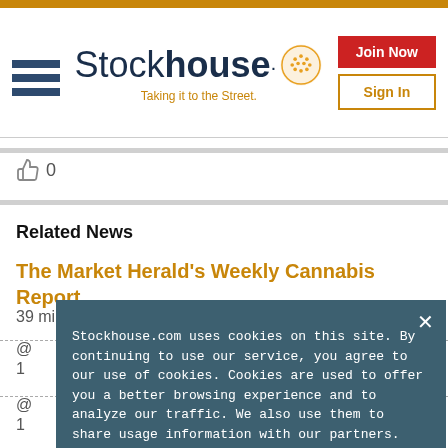Stockhouse - Taking it to the Street.
0
Related News
The Market Herald's Weekly Cannabis Report
39 minutes ago
@ ... 1...
@ ... 1...
Stockhouse.com uses cookies on this site. By continuing to use our service, you agree to our use of cookies. Cookies are used to offer you a better browsing experience and to analyze our traffic. We also use them to share usage information with our partners. See full details.
I Agree